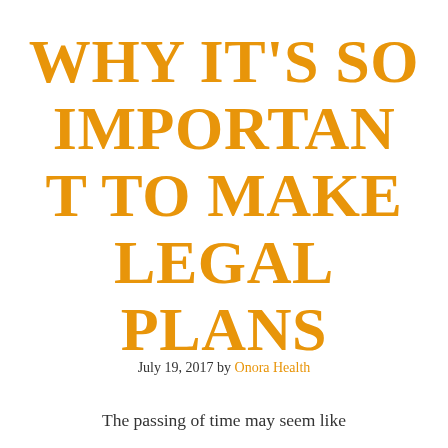WHY IT'S SO IMPORTANT TO MAKE LEGAL PLANS
July 19, 2017 by Onora Health
The passing of time may seem like